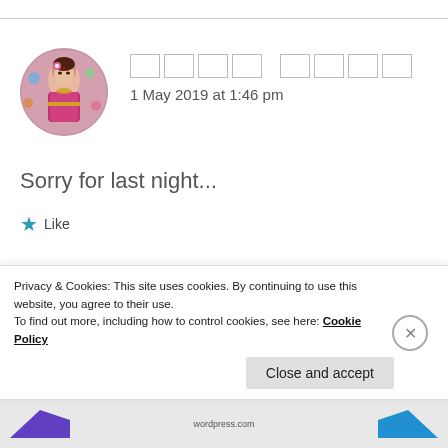[Figure (photo): Circular avatar photo of a woman in traditional Indian bridal attire with colorful decorations in the background]
□□□□ □□□□
1 May 2019 at 1:46 pm
Sorry for last night...
★ Like
[Figure (photo): Circular avatar photo of a woman in traditional Indian bridal attire (second comment, partially visible)]
□□□□ □□□□
Privacy & Cookies: This site uses cookies. By continuing to use this website, you agree to their use.
To find out more, including how to control cookies, see here: Cookie Policy
Close and accept